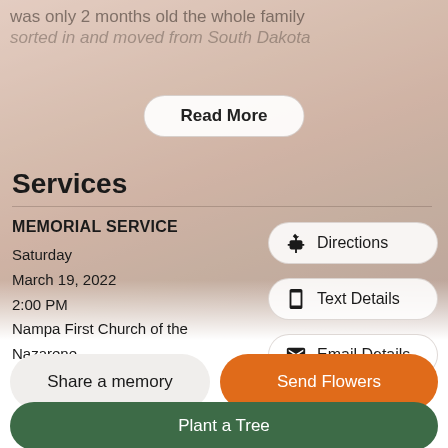was only 2 months old the whole family
sorted in and moved from South Dakota
Read More
Services
MEMORIAL SERVICE
Saturday
March 19, 2022
2:00 PM
Nampa First Church of the Nazarene
601 16th Ave S
Directions
Text Details
Email Details
Share a memory
Send Flowers
Plant a Tree